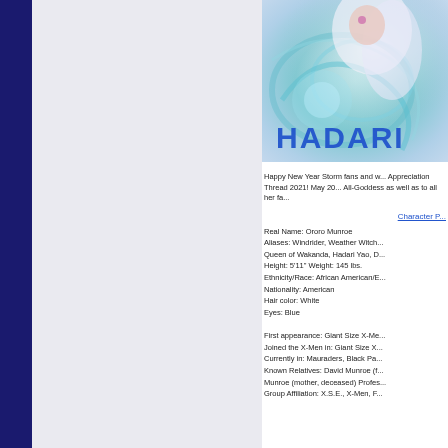[Figure (illustration): Anime/comic-style illustration of Storm (Ororo Munroe) with white hair and purple eyes, with teal/blue energy swirling around her. Blue stylized text 'HADARI' overlaid on the image.]
Happy New Year Storm fans and w... Appreciation Thread 2021! May 20... All-Goddess as well as to all her fa...
Character P...
Real Name: Ororo Munroe
Aliases: Windrider, Weather Witch... Queen of Wakanda, Hadari Yao, D...
Height: 5'11" Weight: 145 lbs.
Ethnicity/Race: African American/E...
Nationality: American
Hair color: White
Eyes: Blue
First appearance: Giant Size X-Me...
Joined the X-Men in: Giant Size X...
Currently in: Mauraders, Black Pa...
Known Relatives: David Munroe (f...
Munroe (mother, deceased) Profes...
Group Affiliation: X.S.E., X-Men, F...